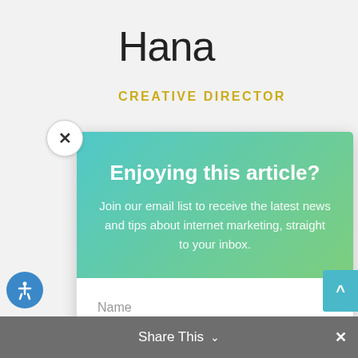Hana
CREATIVE DIRECTOR
[Figure (screenshot): Email subscription modal popup with gradient teal-to-green header, close button (X), title 'Enjoying this article?', subtitle text, Name and Email form fields, and a green SUBSCRIBE! button]
Enjoying this article?
Join our email list to receive the latest news and tips about internet marketing, straight to your inbox.
Name
Email
SUBSCRIBE!
Share This ∨